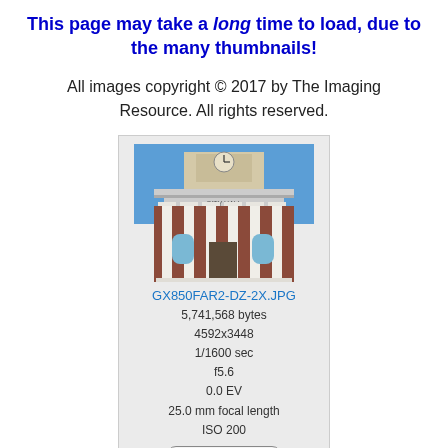This page may take a long time to load, due to the many thumbnails!
All images copyright © 2017 by The Imaging Resource. All rights reserved.
[Figure (photo): Thumbnail image of a City Hall building with white columns, brick facade, clock tower visible at top, blue sky background. Filename: GX850FAR2-DZ-2X.JPG]
GX850FAR2-DZ-2X.JPG
5,741,568 bytes
4592x3448
1/1600 sec
f5.6
0.0 EV
25.0 mm focal length
ISO 200
[Figure (photo): Partial thumbnail of a second image, cropped at bottom of page, showing a building detail.]